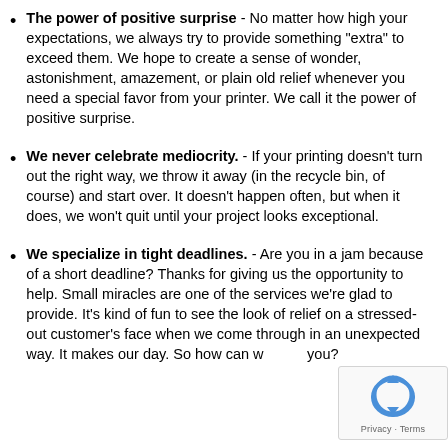The power of positive surprise - No matter how high your expectations, we always try to provide something "extra" to exceed them. We hope to create a sense of wonder, astonishment, amazement, or plain old relief whenever you need a special favor from your printer. We call it the power of positive surprise.
We never celebrate mediocrity. - If your printing doesn't turn out the right way, we throw it away (in the recycle bin, of course) and start over. It doesn't happen often, but when it does, we won't quit until your project looks exceptional.
We specialize in tight deadlines. - Are you in a jam because of a short deadline? Thanks for giving us the opportunity to help. Small miracles are one of the services we're glad to provide. It's kind of fun to see the look of relief on a stressed-out customer's face when we come through in an unexpected way. It makes our day. So how can we help you?